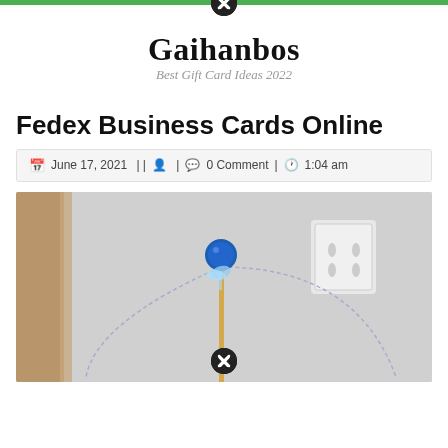Gaihanbos
Best Gift Card Ideas 2022
Fedex Business Cards Online
June 17, 2021  ||   |   0 Comment |   1:04 am
[Figure (photo): A thin stick or wand with a blue round ornament at the top, decorated with a light blue ribbon, leaning against a white wall. A white electrical outlet is visible on the wall in the background. Brown fabric or curtain on the left side.]